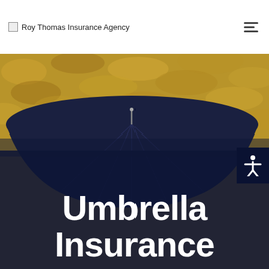Roy Thomas Insurance Agency
[Figure (photo): A large dark navy umbrella photographed from below against a background of yellow autumn leaves. The lower portion of the image fades into a dark navy overlay.]
Umbrella Insurance